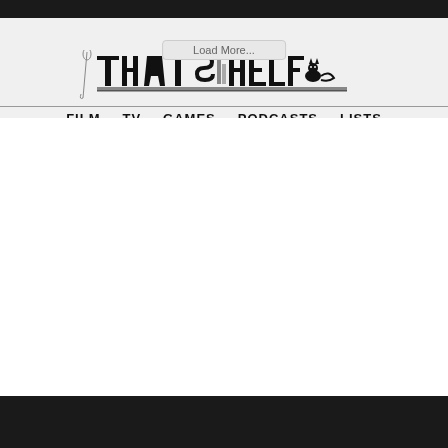[Figure (logo): That Shelf website logo and navigation header. Logo reads 'THAT SHELF' in stylized block letters with illustrated shelf/book artwork. Navigation links: FILM, TV, GAMES, PODCASTS, LISTS. A 'Load More...' button appears overlaid near the top.]
Load More...